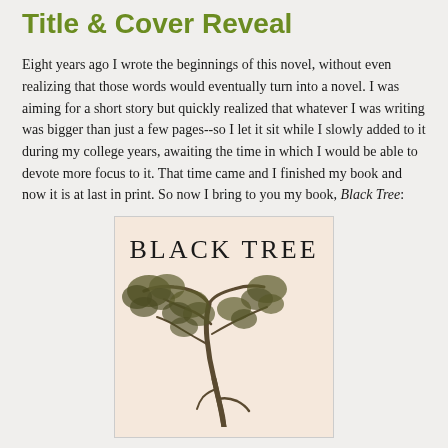Title & Cover Reveal
Eight years ago I wrote the beginnings of this novel, without even realizing that those words would eventually turn into a novel. I was aiming for a short story but quickly realized that whatever I was writing was bigger than just a few pages--so I let it sit while I slowly added to it during my college years, awaiting the time in which I would be able to devote more focus to it. That time came and I finished my book and now it is at last in print. So now I bring to you my book, Black Tree:
[Figure (photo): Book cover of 'Black Tree' showing the title text in large serif letters at the top and a sepia-toned photograph of a windswept tree below, on a pale pinkish-beige background.]